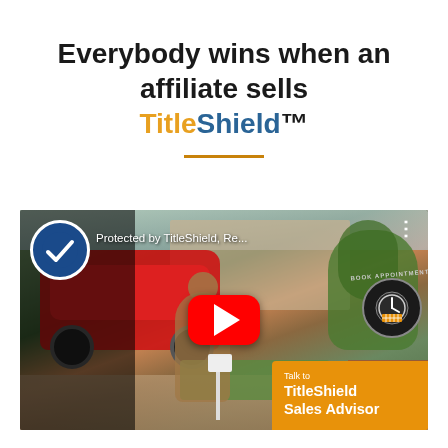Everybody wins when an affiliate sells TitleShield™
[Figure (screenshot): YouTube video thumbnail showing a man kneeling in a driveway next to a red sports car with a yard sign, with a play button overlay. Title reads 'Protected by TitleShield, Re...' with a Veritably Data Solutions badge in top-left corner. A 'Talk to TitleShield Sales Advisor' CTA button with 'Book Appointment' badge appears in the bottom-right.]